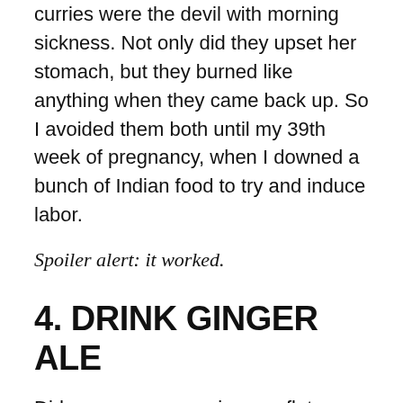curries were the devil with morning sickness. Not only did they upset her stomach, but they burned like anything when they came back up. So I avoided them both until my 39th week of pregnancy, when I downed a bunch of Indian food to try and induce labor.
Spoiler alert: it worked.
4. DRINK GINGER ALE
Did your mom ever give you flat ginger ale when you felt sick? Mine didn't. But I drank a lot of ginger ale when I was in my first trimester, and it really helped settle my tummy. I personally found the carbonation helped, but if the bubbles bother you, all you need to do is stir in some sugar to get rid of